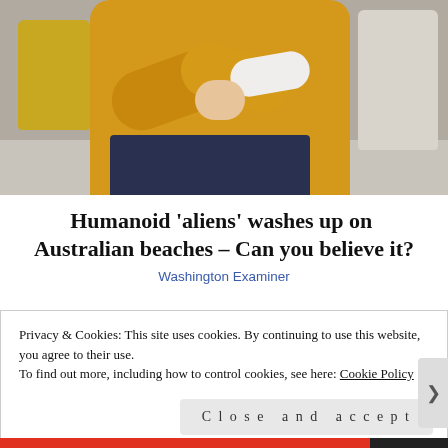[Figure (photo): Woman in yellow knit sweater sitting on a grey couch holding her arm/wrist, with yellow and grey pillows visible behind her]
Humanoid 'aliens' washes up on Australian beaches – Can you believe it?
Washington Examiner
Privacy & Cookies: This site uses cookies. By continuing to use this website, you agree to their use.
To find out more, including how to control cookies, see here: Cookie Policy